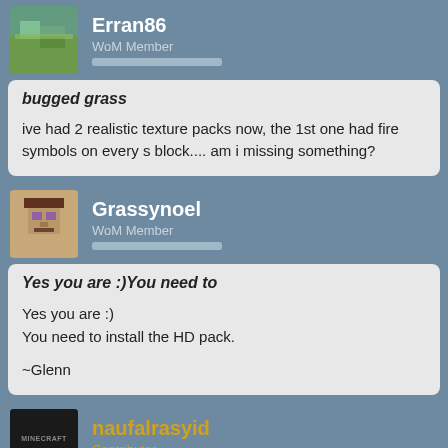Erran86
WoM Member
bugged grass
ive had 2 realistic texture packs now, the 1st one had fire symbols on every s block.... am i missing something?
Grassynoel
WoM Member
Yes you are :)You need to
Yes you are :)
You need to install the HD pack.

~Glenn
naufalrasyid
Contributor